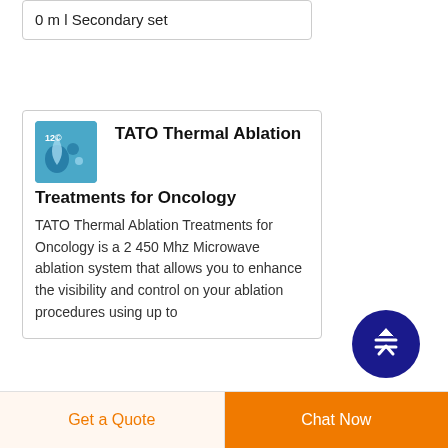0 m l Secondary set
TATO Thermal Ablation Treatments for Oncology
TATO Thermal Ablation Treatments for Oncology is a 2 450 Mhz Microwave ablation system that allows you to enhance the visibility and control on your ablation procedures using up to
Get a Quote
Chat Now